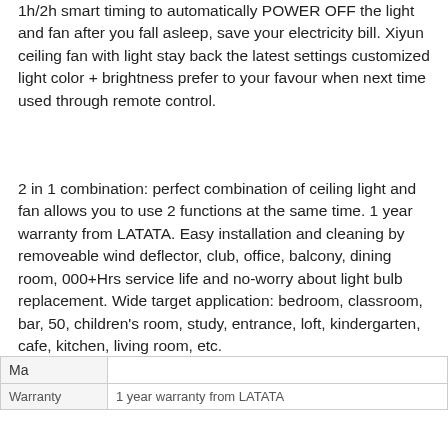1h/2h smart timing to automatically POWER OFF the light and fan after you fall asleep, save your electricity bill. Xiyun ceiling fan with light stay back the latest settings customized light color + brightness prefer to your favour when next time used through remote control.
2 in 1 combination: perfect combination of ceiling light and fan allows you to use 2 functions at the same time. 1 year warranty from LATATA. Easy installation and cleaning by removeable wind deflector, club, office, balcony, dining room, 000+Hrs service life and no-worry about light bulb replacement. Wide target application: bedroom, classroom, bar, 50, children's room, study, entrance, loft, kindergarten, cafe, kitchen, living room, etc.
| Ma |  |
As an Amazon Associate I earn from qualifying purchases. This website uses the only necessary cookies to ensure you get the best experience on our website. More information